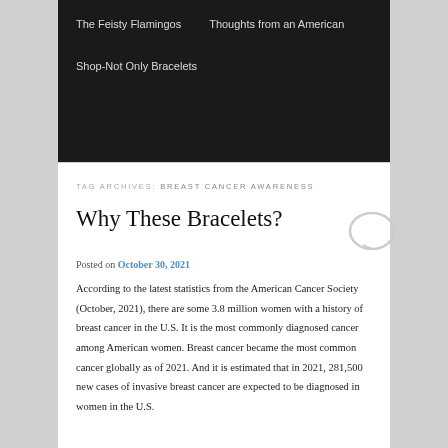The Feisty Flamingos   Thoughts from an American
Shop-Not Only Bracelets
TAG ARCHIVES: BREAST CANCER AWARENESS
Why These Bracelets?
Posted on October 30, 2021
According to the latest statistics from the American Cancer Society (October, 2021), there are some 3.8 million women with a history of breast cancer in the U.S. It is the most commonly diagnosed cancer among American women. Breast cancer became the most common cancer globally as of 2021. And it is estimated that in 2021, 281,500 new cases of invasive breast cancer are expected to be diagnosed in women in the U.S.